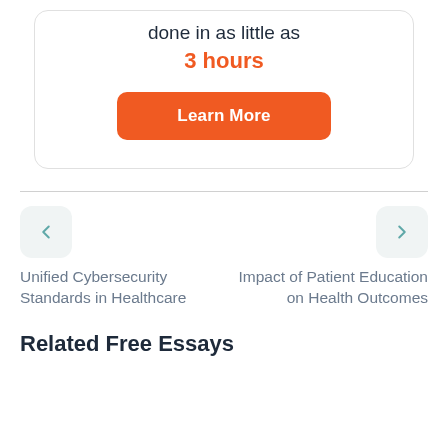done in as little as
3 hours
[Figure (other): Orange rounded button labeled 'Learn More']
Unified Cybersecurity Standards in Healthcare
Impact of Patient Education on Health Outcomes
Related Free Essays